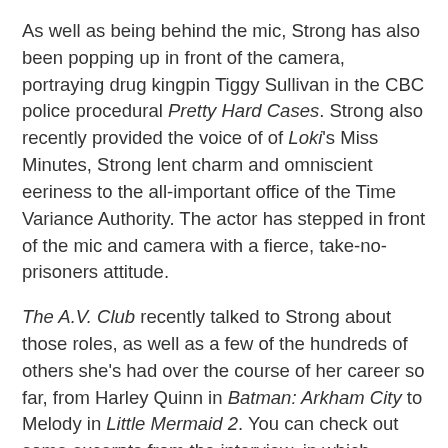As well as being behind the mic, Strong has also been popping up in front of the camera, portraying drug kingpin Tiggy Sullivan in the CBC police procedural Pretty Hard Cases. Strong also recently provided the voice of of Loki's Miss Minutes, Strong lent charm and omniscient eeriness to the all-important office of the Time Variance Authority. The actor has stepped in front of the mic and camera with a fierce, take-no-prisoners attitude.
The A.V. Club recently talked to Strong about those roles, as well as a few of the hundreds of others she's had over the course of her career so far, from Harley Quinn in Batman: Arkham City to Melody in Little Mermaid 2. You can check out some excerpts from the interview, in which Strong talks about her Nickelodeon career, below, and read the whole interview on avclub.com!:
Fairly OddParents (1998-2017)—"Timmy Turner"
AVC: Fairly OddParents [...] seems like one of those shows that, when you first went in, you probably didn't think "I'm going to be doing this voice in 20 years."